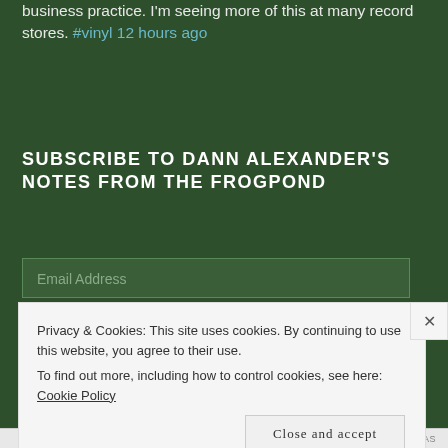business practice. I'm seeing more of this at many record stores. #vinyl 12 hours ago
SUBSCRIBE TO DANN ALEXANDER'S NOTES FROM THE FROGPOND
Email Address
SUBSCRIBE!
Join 1,498 other followers
Privacy & Cookies: This site uses cookies. By continuing to use this website, you agree to their use.
To find out more, including how to control cookies, see here: Cookie Policy
Close and accept